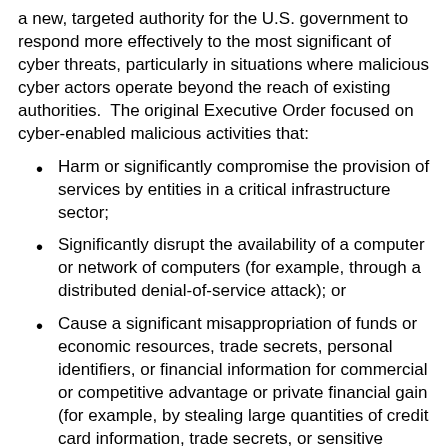a new, targeted authority for the U.S. government to respond more effectively to the most significant of cyber threats, particularly in situations where malicious cyber actors operate beyond the reach of existing authorities.  The original Executive Order focused on cyber-enabled malicious activities that:
Harm or significantly compromise the provision of services by entities in a critical infrastructure sector;
Significantly disrupt the availability of a computer or network of computers (for example, through a distributed denial-of-service attack); or
Cause a significant misappropriation of funds or economic resources, trade secrets, personal identifiers, or financial information for commercial or competitive advantage or private financial gain (for example, by stealing large quantities of credit card information, trade secrets, or sensitive information).
The increasing use of cyber-enabled means to undermine